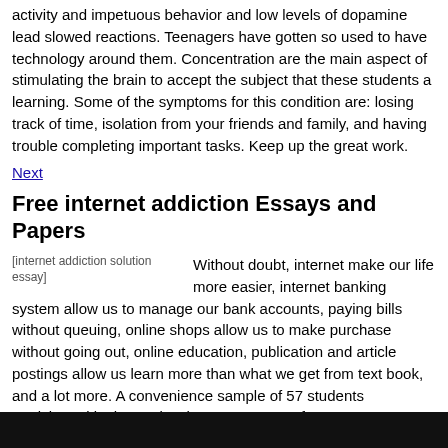activity and impetuous behavior and low levels of dopamine lead slowed reactions. Teenagers have gotten so used to have technology around them. Concentration are the main aspect of stimulating the brain to accept the subject that these students a learning. Some of the symptoms for this condition are: losing track of time, isolation from your friends and family, and having trouble completing important tasks. Keep up the great work.
Next
Free internet addiction Essays and Papers
[Figure (other): Placeholder image for internet addiction solution essay]
Without doubt, internet make our life more easier, internet banking system allow us to manage our bank accounts, paying bills without queuing, online shops allow us to make purchase without going out, online education, publication and article postings allow us learn more than what we get from text book, and a lot more. A convenience sample of 57 students participated in the study. There are no cure for computer addiction. But with this newfound freedom, also comes the possibility of abuse and addiction. Gray matter abnormalities in Internet addiction: A voxel-based morphometry study.
[Figure (photo): Dark image at the bottom of the page]